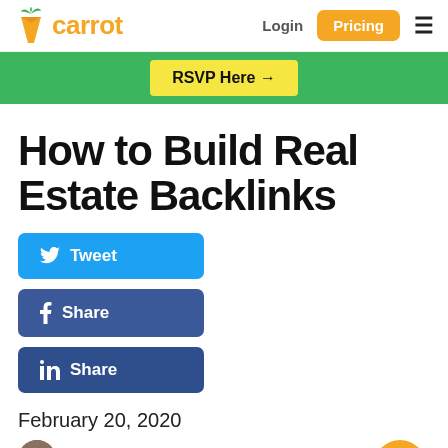carrot | Login | Pricing
RSVP Here →
How to Build Real Estate Backlinks
Tweet
Share
Share
February 20, 2020
Mike Blankenship